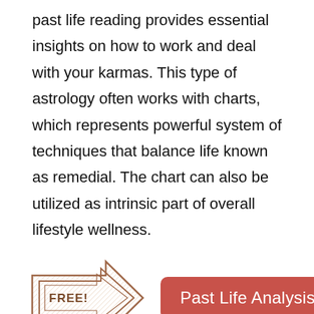past life reading provides essential insights on how to work and deal with your karmas. This type of astrology often works with charts, which represents powerful system of techniques that balance life known as remedial. The chart can also be utilized as intrinsic part of overall lifestyle wellness.
[Figure (illustration): A decorative arrow shape with hatching pattern and the word FREE! inside, pointing right, drawn in brownish-red outline style, next to a red button labeled 'Past Life Analysis']
Vedic Astrology is also viewed with connection to Meditation practice and Yoga. This also aids